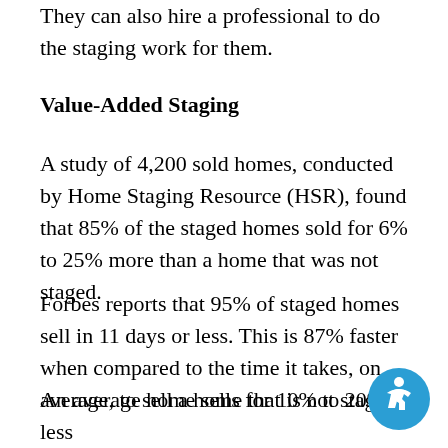They can also hire a professional to do the staging work for them.
Value-Added Staging
A study of 4,200 sold homes, conducted by Home Staging Resource (HSR), found that 85% of the staged homes sold for 6% to 25% more than a home that was not staged.
Forbes reports that 95% of staged homes sell in 11 days or less. This is 87% faster when compared to the time it takes, on average, to sell a home that is not staged.
An average home sells for 10% to 20% less than a home that was staged.
[Figure (illustration): Accessibility icon: circular teal badge with a stylized white human figure in motion]